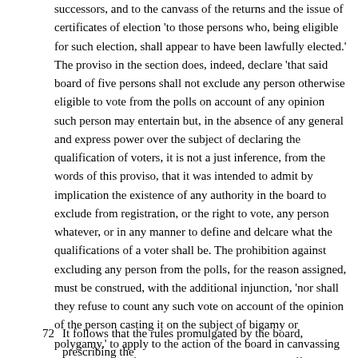successors, and to the canvass of the returns and the issue of certificates of election 'to those persons who, being eligible for such election, shall appear to have been lawfully elected.' The proviso in the section does, indeed, declare 'that said board of five persons shall not exclude any person otherwise eligible to vote from the polls on account of any opinion such person may entertain but, in the absence of any general and express power over the subject of declaring the qualification of voters, it is not a just inference, from the words of this proviso, that it was intended to admit by implication the existence of any authority in the board to exclude from registration, or the right to vote, any person whatever, or in any manner to define and delcare what the qualifications of a voter shall be. The prohibition against excluding any person from the polls, for the reason assigned, must be construed, with the additional injunction, 'nor shall they refuse to count any such vote on account of the opinion of the person casting it on the subject of bigamy or polygamy,' to apply to the action of the board in canvassing the the returns of elections, made to them by the officers holding such elections; or, if it includes more, it is to be taken as the announcement of a general principle to govern all officers concerned in the registration of in canvassing the returns of elections,
72 It follows that the rules promulgated by the board, prescribing the